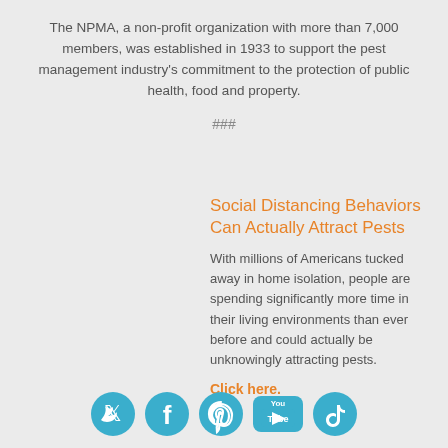The NPMA, a non-profit organization with more than 7,000 members, was established in 1933 to support the pest management industry's commitment to the protection of public health, food and property.
###
Social Distancing Behaviors Can Actually Attract Pests
With millions of Americans tucked away in home isolation, people are spending significantly more time in their living environments than ever before and could actually be unknowingly attracting pests.
Click here.
[Figure (infographic): Social media icons: Twitter, Facebook, Pinterest, YouTube, TikTok in teal/blue color]